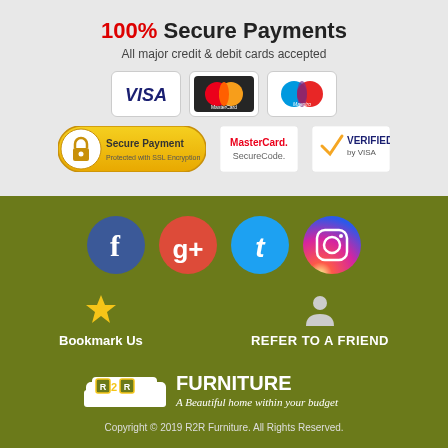100% Secure Payments
All major credit & debit cards accepted
[Figure (illustration): Payment card logos: Visa, MasterCard, Maestro cards, Secure Payment SSL badge, MasterCard SecureCode, Verified by Visa]
[Figure (illustration): Social media icons: Facebook, Google+, Twitter, Instagram]
Bookmark Us
REFER TO A FRIEND
[Figure (logo): R2R Furniture logo — A Beautiful home within your budget]
Copyright © 2019 R2R Furniture. All Rights Reserved.